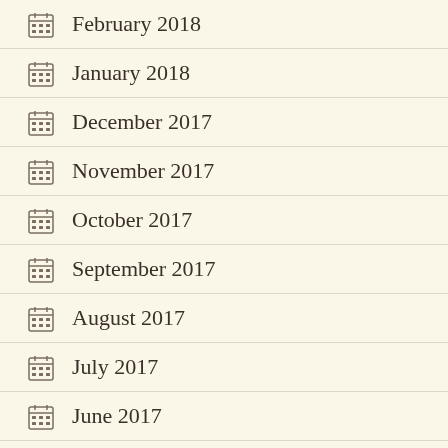February 2018
January 2018
December 2017
November 2017
October 2017
September 2017
August 2017
July 2017
June 2017
May 2017